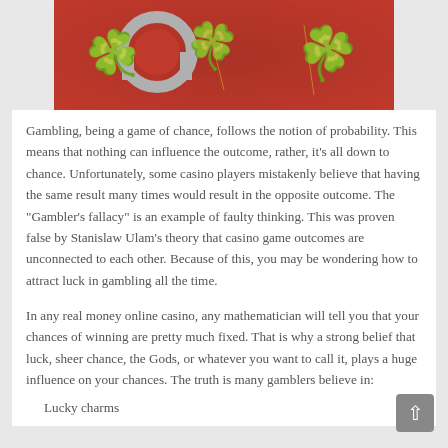[Figure (photo): A photo showing green shamrock/clover leaves and a horseshoe on a red background, suggesting luck in gambling.]
Gambling, being a game of chance, follows the notion of probability. This means that nothing can influence the outcome, rather, it's all down to chance. Unfortunately, some casino players mistakenly believe that having the same result many times would result in the opposite outcome. The "Gambler's fallacy" is an example of faulty thinking. This was proven false by Stanislaw Ulam's theory that casino game outcomes are unconnected to each other. Because of this, you may be wondering how to attract luck in gambling all the time.
In any real money online casino, any mathematician will tell you that your chances of winning are pretty much fixed. That is why a strong belief that luck, sheer chance, the Gods, or whatever you want to call it, plays a huge influence on your chances. The truth is many gamblers believe in:
Lucky charms